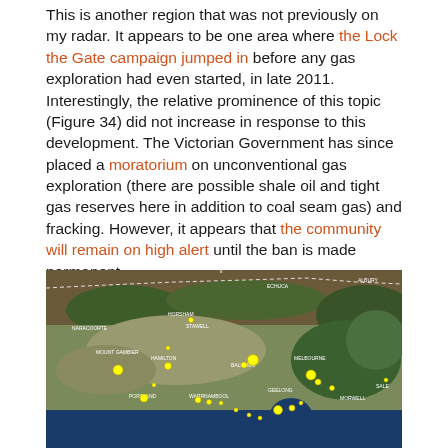This is another region that was not previously on my radar. It appears to be one area where the Lock the Gate campaign jumped in before any gas exploration had even started, in late 2011. Interestingly, the relative prominence of this topic (Figure 34) did not increase in response to this development. The Victorian Government has since placed a moratorium on unconventional gas exploration (there are possible shale oil and tight gas reserves here in addition to coal seam gas) and fracking. However, it appears that the community will remain on high alert until the ban is made permanent.
[Figure (map): Satellite map of Victoria, Australia showing yellow dot markers indicating locations of community activity related to unconventional gas exploration. Cities labeled include Albury, Echuca, Horsham, Stawell, Naracoorte, Ballarat, Melbourne, Geelong, Hamilton, Mount Gambier, Portland, Warrnambool, Morwell, and Sale.]